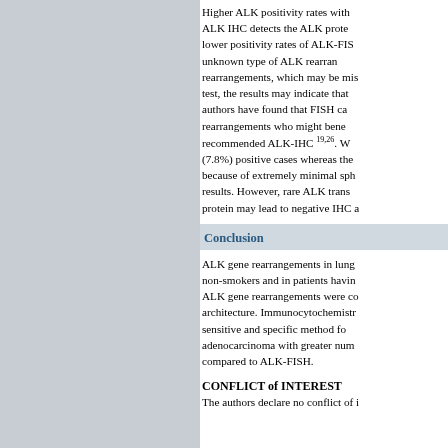Higher ALK positivity rates with ALK IHC detects the ALK prote... lower positivity rates of ALK-FIS... unknown type of ALK rearran... rearrangements, which may be mis... test, the results may indicate that authors have found that FISH ca... rearrangements who might bene... recommended ALK-IHC 19,26. W... (7.8%) positive cases whereas the... because of extremely minimal sph... results. However, rare ALK trans... protein may lead to negative IHC a...
Conclusion
ALK gene rearrangements in lung non-smokers and in patients havin... ALK gene rearrangements were co... architecture. Immunocytochemistr... sensitive and specific method fo... adenocarcinoma with greater num... compared to ALK-FISH.
CONFLICT of INTEREST
The authors declare no conflict of i...